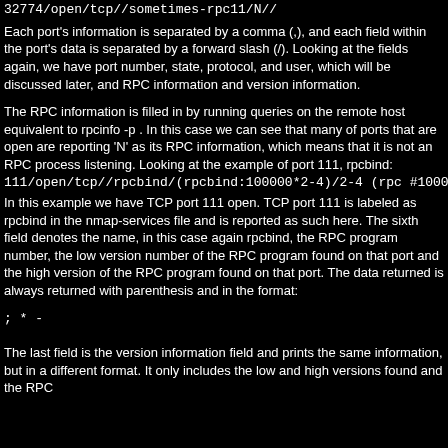32774/open/tcp//sometimes-rpc11/N//
Each port's information is separated by a comma (,), and each field within the port's data is separated by a forward slash (/). Looking at the fields again, we have port number, state, protocol, and user, which will be discussed later, and RPC information and version information.
The RPC information is filled in by running queries on the remote host equivalent to rpcinfo -p . In this case we can see that many of ports that are open are reporting 'N' as its RPC information, which means that it is not an RPC process listening. Looking at the example of port 111, rpcbind:
111/open/tcp//rpcbind/(rpcbind:100000*2-4)/2-4 (rpc #100000)/
In this example we have TCP port 111 open. TCP port 111 is labeled as rpcbind in the nmap-services file and is reported as such here. The sixth field denotes the name, in this case again rpcbind, the RPC program number, the low version number of the RPC program found on that port and the high version of the RPC program found on that port. The data returned is always returned with parenthesis and in the format:
; * -
The last field is the version information field and prints the same information, but in a different format. It only includes the low and high versions found and the RPC